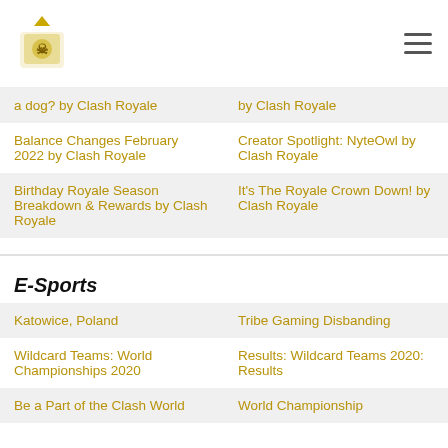Clash Royale Wiki
a dog? by Clash Royale
by Clash Royale
Balance Changes February 2022 by Clash Royale
Creator Spotlight: NyteOwl by Clash Royale
Birthday Royale Season Breakdown & Rewards by Clash Royale
It's The Royale Crown Down! by Clash Royale
E-Sports
Katowice, Poland
Tribe Gaming Disbanding
Wildcard Teams: World Championships 2020
Results: Wildcard Teams 2020: Results
Be a Part of the Clash World
World Championship